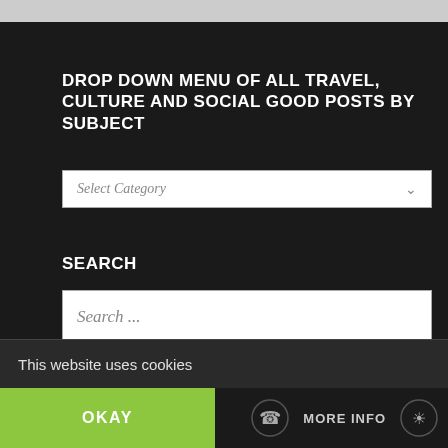DROP DOWN MENU OF ALL TRAVEL, CULTURE AND SOCIAL GOOD POSTS BY SUBJECT
[Figure (screenshot): Dropdown select box with placeholder text 'Select Category' and a dropdown arrow]
SEARCH
[Figure (screenshot): Search input box with placeholder text 'Search ...']
FOLLOW THIRDEYEMOM!
This website uses cookies
OKAY
MORE INFO